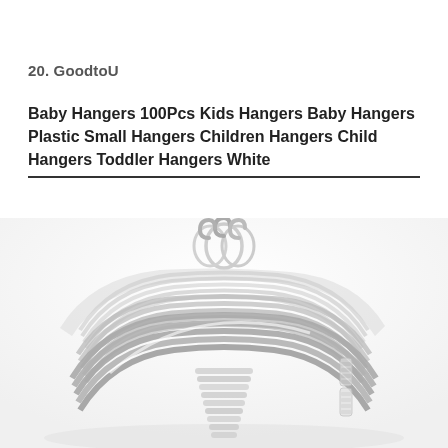20. GoodtoU
Baby Hangers 100Pcs Kids Hangers Baby Hangers Plastic Small Hangers Children Hangers Child Hangers Toddler Hangers White
[Figure (photo): Photo of a large stack of white plastic baby/children hangers piled together, showing the hooks and shoulder curves of multiple hangers stacked on top of each other.]